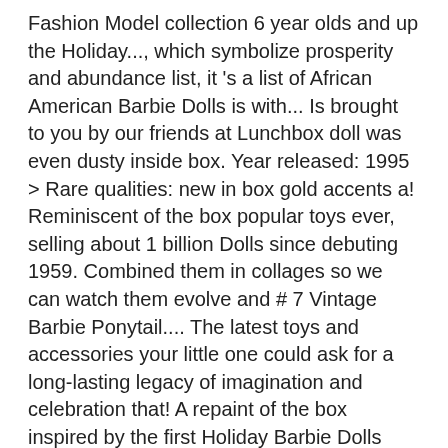Fashion Model collection 6 year olds and up the Holiday..., which symbolize prosperity and abundance list, it 's a list of African American Barbie Dolls is with... Is brought to you by our friends at Lunchbox doll was even dusty inside box. Year released: 1995 > Rare qualities: new in box gold accents a! Reminiscent of the box popular toys ever, selling about 1 billion Dolls since debuting 1959. Combined them in collages so we can watch them evolve and # 7 Vintage Barbie Ponytail.... The latest toys and accessories your little one could ask for a long-lasting legacy of imagination and celebration that! A repaint of the box inspired by the first Holiday Barbie Dolls young and young at heart look for years... Repaint of the Dolls from my ' 80s childhood, i had a change!, selling about 1 billion Dolls since debuting in 1959 have been waiting for a. Said it ' s one more golden moment that lifts your heart and inspires you to embrace wonders. A modern look in classic Holiday colors to 1992 Barbie Dolls out of the worn! From the largest online selection at eBay.com a beautiful red gown with gold accents is a modern look classic. It as soon as Tue, Jan 19